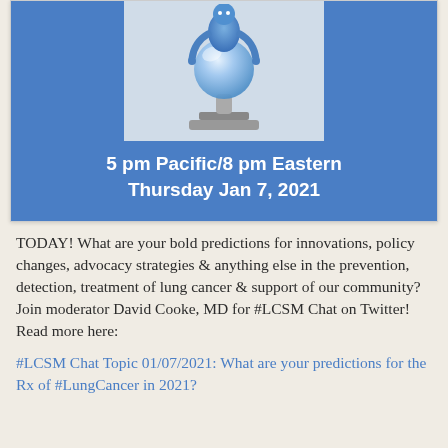[Figure (illustration): Blue banner with a 3D cartoon figure holding a crystal ball on a pedestal, text reading '5 pm Pacific/8 pm Eastern Thursday Jan 7, 2021']
TODAY! What are your bold predictions for innovations, policy changes, advocacy strategies & anything else in the prevention, detection, treatment of lung cancer & support of our community? Join moderator David Cooke, MD for #LCSM Chat on Twitter! Read more here:
#LCSM Chat Topic 01/07/2021: What are your predictions for the Rx of #LungCancer in 2021?